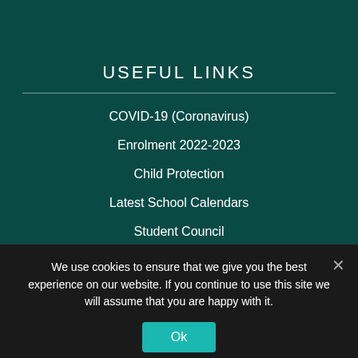USEFUL LINKS
COVID-19 (Coronavirus)
Enrolment 2022-2023
Child Protection
Latest School Calendars
Student Council
Parent's Association
Library Blog
We use cookies to ensure that we give you the best experience on our website. If you continue to use this site we will assume that you are happy with it.
Ok